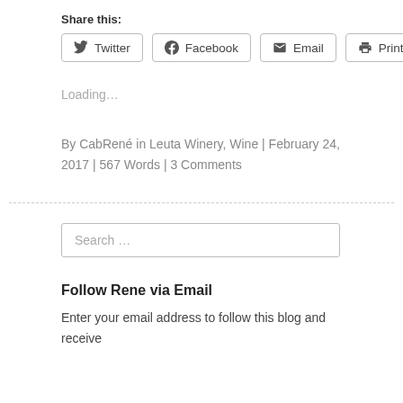Share this:
Twitter  Facebook  Email  Print
Loading...
By CabRené in Leuta Winery, Wine | February 24, 2017 | 567 Words | 3 Comments
Search ...
Follow Rene via Email
Enter your email address to follow this blog and receive